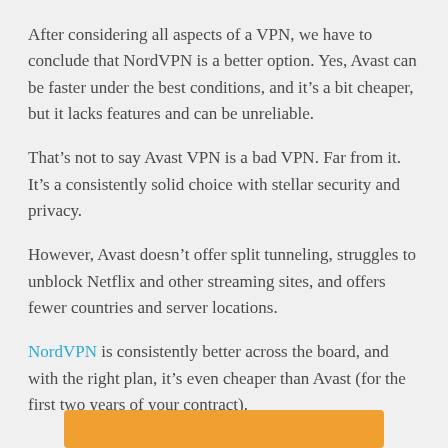After considering all aspects of a VPN, we have to conclude that NordVPN is a better option. Yes, Avast can be faster under the best conditions, and it's a bit cheaper, but it lacks features and can be unreliable.
That's not to say Avast VPN is a bad VPN. Far from it. It's a consistently solid choice with stellar security and privacy.
However, Avast doesn't offer split tunneling, struggles to unblock Netflix and other streaming sites, and offers fewer countries and server locations.
NordVPN is consistently better across the board, and with the right plan, it's even cheaper than Avast (for the first two years of your contract).
[Figure (other): Orange button at the bottom of the page]